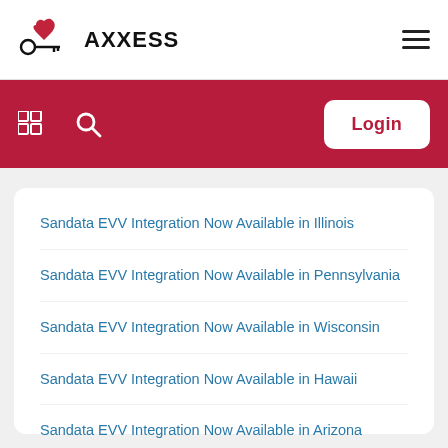[Figure (logo): Axxess logo with heart and key icon, text AXXESS in bold]
[Figure (other): Hamburger menu icon (three horizontal lines)]
[Figure (other): Red toolbar with grid icon, search icon, and Login button]
Sandata EVV Integration Now Available in Illinois
Sandata EVV Integration Now Available in Pennsylvania
Sandata EVV Integration Now Available in Wisconsin
Sandata EVV Integration Now Available in Hawaii
Sandata EVV Integration Now Available in Arizona